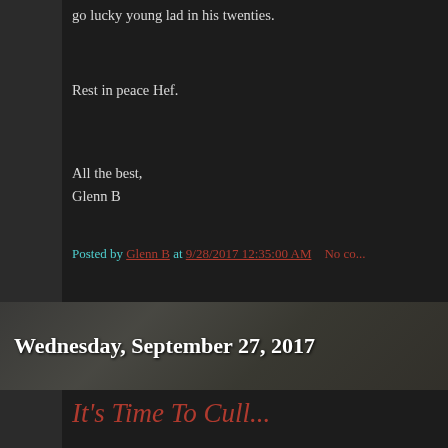go lucky young lad in his twenties.
Rest in peace Hef.
All the best,
Glenn B
Posted by Glenn B at 9/28/2017 12:35:00 AM   No co...
Wednesday, September 27, 2017
It's Time To Cull...
...blogs from my blogroll. As you know, if you have eve... three of them. There is one with links to the blogs of blo... blogs of bloggers who have had the courtesy to link to m...